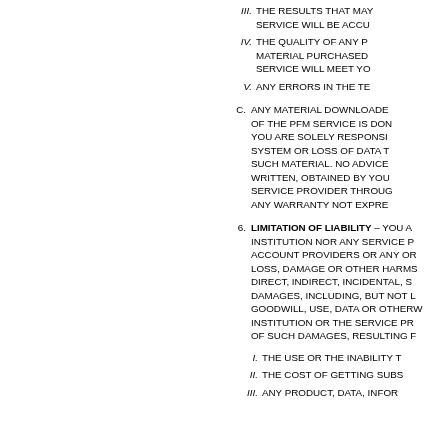iii. THE RESULTS THAT MAY BE OBTAINED FROM THE USE OF THE PFM SERVICE WILL BE ACCU...
iv. THE QUALITY OF ANY PRODUCTS, SERVICES, INFORMATION, OR OTHER MATERIAL PURCHASED OR OBTAINED BY YOU THROUGH THE PFM SERVICE WILL MEET YO...
v. ANY ERRORS IN THE TE...
c. ANY MATERIAL DOWNLOADED OR OTHERWISE OBTAINED THROUGH THE USE OF THE PFM SERVICE IS DONE AT YOUR OWN DISCRETION AND RISK AND YOU ARE SOLELY RESPONSIBLE FOR ANY DAMAGE TO YOUR COMPUTER SYSTEM OR LOSS OF DATA THAT RESULTS FROM THE DOWNLOAD OF ANY SUCH MATERIAL. NO ADVICE OR INFORMATION, WHETHER ORAL OR WRITTEN, OBTAINED BY YOU FROM THE FINANCIAL INSTITUTION OR ANY SERVICE PROVIDER THROUGH OR FROM THE PFM SERVICE SHALL CREATE ANY WARRANTY NOT EXPRE...
6. LIMITATION OF LIABILITY – YOU A... INSTITUTION NOR ANY SERVICE P... ACCOUNT PROVIDERS OR ANY OR... LOSS, DAMAGE OR OTHER HARMS... DIRECT, INDIRECT, INCIDENTAL, S... DAMAGES, INCLUDING, BUT NOT L... GOODWILL, USE, DATA OR OTHERW... INSTITUTION OR THE SERVICE PR... OF SUCH DAMAGES, RESULTING F...
i. THE USE OR THE INABILITY T...
ii. THE COST OF GETTING SUBS...
iii. ANY PRODUCT, DATA, INFOR...